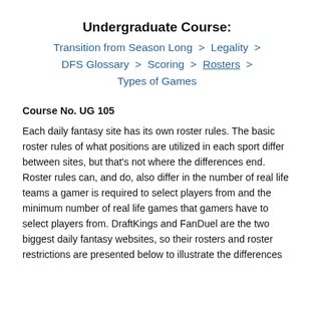Undergraduate Course:
Transition from Season Long  >  Legality  >  DFS Glossary  >  Scoring  >  Rosters  >  Types of Games
Course No. UG 105
Each daily fantasy site has its own roster rules. The basic roster rules of what positions are utilized in each sport differ between sites, but that's not where the differences end. Roster rules can, and do, also differ in the number of real life teams a gamer is required to select players from and the minimum number of real life games that gamers have to select players from. DraftKings and FanDuel are the two biggest daily fantasy websites, so their rosters and roster restrictions are presented below to illustrate the differences